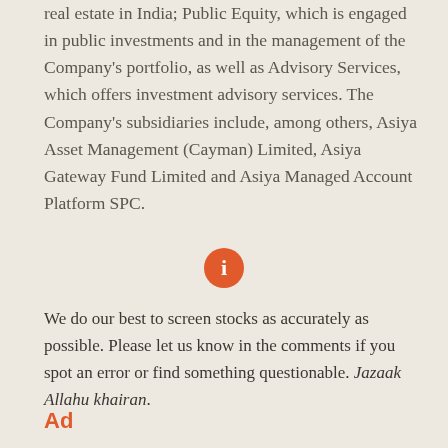real estate in India; Public Equity, which is engaged in public investments and in the management of the Company's portfolio, as well as Advisory Services, which offers investment advisory services. The Company's subsidiaries include, among others, Asiya Asset Management (Cayman) Limited, Asiya Gateway Fund Limited and Asiya Managed Account Platform SPC.
[Figure (other): Orange circle info icon]
We do our best to screen stocks as accurately as possible. Please let us know in the comments if you spot an error or find something questionable. Jazaak Allahu khairan.
Ad